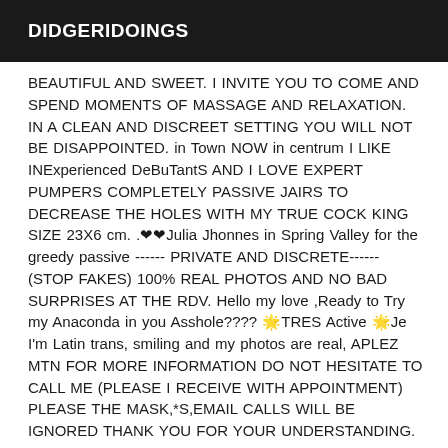DIDGERIDOINGS
BEAUTIFUL AND SWEET. I INVITE YOU TO COME AND SPEND MOMENTS OF MASSAGE AND RELAXATION. IN A CLEAN AND DISCREET SETTING YOU WILL NOT BE DISAPPOINTED. in Town NOW in centrum I LIKE INExperienced DeBuTantS AND I LOVE EXPERT PUMPERS COMPLETELY PASSIVE JAIRS TO DECREASE THE HOLES WITH MY TRUE COCK KING SIZE 23X6 cm. .❤❤Julia Jhonnes in Spring Valley for the greedy passive ------ PRIVATE AND DISCRETE------ (STOP FAKES) 100% REAL PHOTOS AND NO BAD SURPRISES AT THE RDV. Hello my love ,Ready to Try my Anaconda in you Asshole???? 🌟TRES Active 🌟Je I'm Latin trans, smiling and my photos are real, APLEZ MTN FOR MORE INFORMATION DO NOT HESITATE TO CALL ME (PLEASE I RECEIVE WITH APPOINTMENT) PLEASE THE MASK,*S,EMAIL CALLS WILL BE IGNORED THANK YOU FOR YOUR UNDERSTANDING. I'M JUST PASSING THROUGH